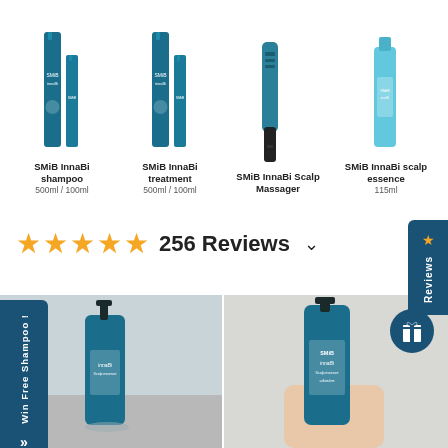[Figure (photo): Product lineup showing SMiB InnaBi shampoo (500ml/100ml), SMiB InnaBi treatment (500ml/100ml), SMiB InnaBi Scalp Massager, and SMiB InnaBi scalp essence (115ml) — all in teal/blue packaging against white background]
SMiB InnaBi shampoo
500ml / 100ml
SMiB InnaBi treatment
500ml / 100ml
SMiB InnaBi Scalp Massager
SMiB InnaBi scalp essence
115ml
★★★★★  256 Reviews  ∨
★ Reviews
Win Free Shampoo !
[Figure (photo): Photo of SMiB InnaBi scalp essence bottle (teal/blue spray bottle) on bathroom counter]
[Figure (photo): Photo of SMiB InnaBi scalp essence bottle held in hand against light background, with blue gift badge overlay]